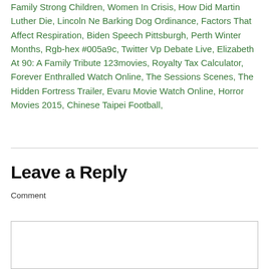Family Strong Children, Women In Crisis, How Did Martin Luther Die, Lincoln Ne Barking Dog Ordinance, Factors That Affect Respiration, Biden Speech Pittsburgh, Perth Winter Months, Rgb-hex #005a9c, Twitter Vp Debate Live, Elizabeth At 90: A Family Tribute 123movies, Royalty Tax Calculator, Forever Enthralled Watch Online, The Sessions Scenes, The Hidden Fortress Trailer, Evaru Movie Watch Online, Horror Movies 2015, Chinese Taipei Football,
Leave a Reply
Comment